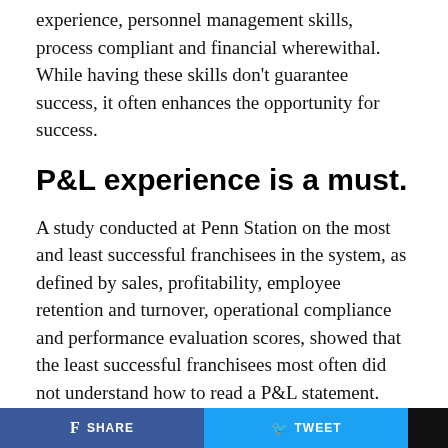experience, personnel management skills, process compliant and financial wherewithal. While having these skills don't guarantee success, it often enhances the opportunity for success.
P&L experience is a must.
A study conducted at Penn Station on the most and least successful franchisees in the system, as defined by sales, profitability, employee retention and turnover, operational compliance and performance evaluation scores, showed that the least successful franchisees most often did not understand how to read a P&L statement.
The restaurant's bottom line is what keeps the franchisee making a profit and aids the franchisor to continue selling the concept to more franchisees. Thus, it is critical a franchisee intimately understands every line item on
SHARE   TWEET